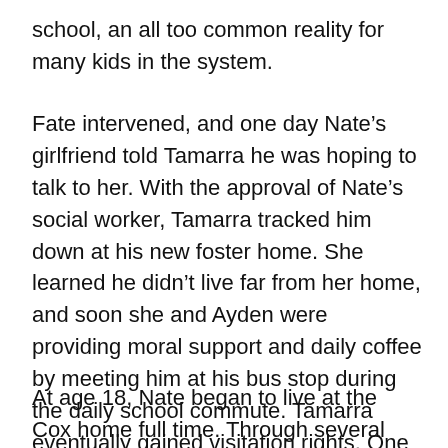school, an all too common reality for many kids in the system.
Fate intervened, and one day Nate’s girlfriend told Tamarra he was hoping to talk to her. With the approval of Nate’s social worker, Tamarra tracked him down at his new foster home. She learned he didn’t live far from her home, and soon she and Ayden were providing moral support and daily coffee by meeting him at his bus stop during the daily school commute. Tamarra eventually gained visitation rights. One step at a time, Nate became a part of the whole family’s lives.
At age 18, Nate began to live at the Cox home full time. Through several challenges, it was always